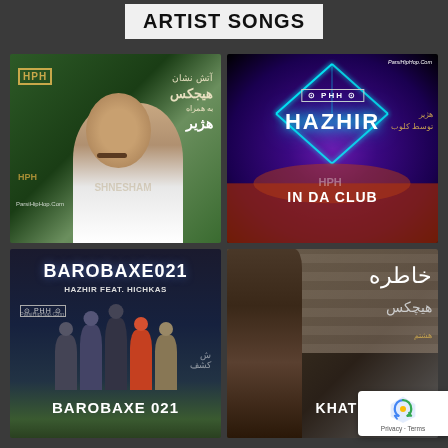ARTIST SONGS
[Figure (illustration): Album cover: Atash Neshan - Hichkas feat. Hazhir, green background with person portrait, Persian text, ParsiHipHop.Com watermark]
[Figure (illustration): Album cover: Hazhir In Da Club, club/concert scene with neon lights, purple background, ParsiHipHop.Com watermark]
[Figure (illustration): Album cover: Barobaxe021 - Hazhir feat. Hichkas, dark background with group of people silhouettes, ParsiHipHop.Com watermark]
[Figure (illustration): Album cover: Khatereh - Hichkas, dark moody photo of person facing wall with Persian/Farsi text, ParsiHipHop branding]